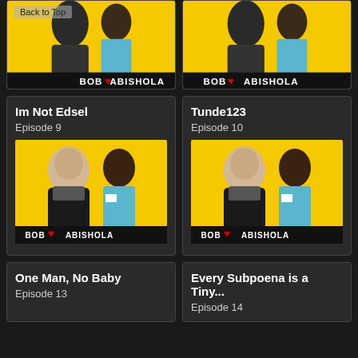[Figure (screenshot): Bob Hearts Abishola TV show card (partial top), Episode 8 or similar, with Back to Top button overlay]
[Figure (screenshot): Bob Hearts Abishola TV show card (partial top), right column]
Im Not Edsel
Episode 9
[Figure (photo): Bob Hearts Abishola show poster with two main characters on yellow background]
Tunde123
Episode 10
[Figure (photo): Bob Hearts Abishola show poster with two main characters on yellow background]
One Man, No Baby
Episode 13
Every Subpoena is a Tiny...
Episode 14